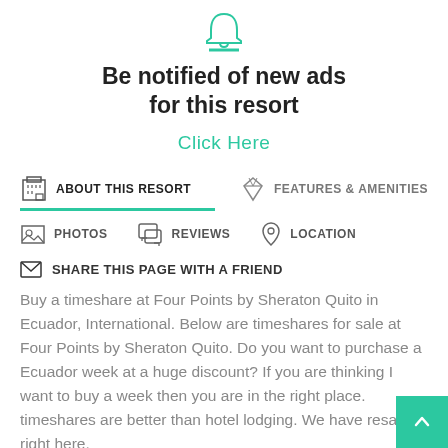[Figure (illustration): Teal bell notification icon with a teal horizontal line below it]
Be notified of new ads for this resort
Click Here
ABOUT THIS RESORT
FEATURES & AMENITIES
PHOTOS
REVIEWS
LOCATION
SHARE THIS PAGE WITH A FRIEND
Buy a timeshare at Four Points by Sheraton Quito in Ecuador, International. Below are timeshares for sale at Four Points by Sheraton Quito. Do you want to purchase a Ecuador week at a huge discount? If you are thinking I want to buy a week then you are in the right place. timeshares are better than hotel lodging. We have resales right here.